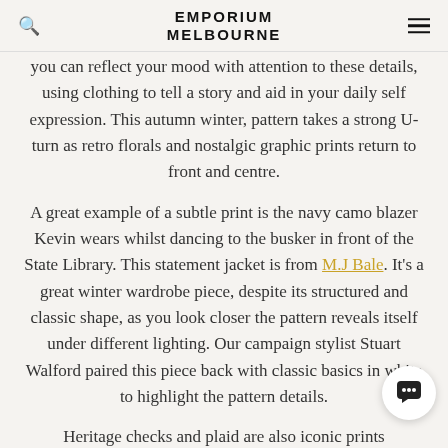EMPORIUM MELBOURNE
you can reflect your mood with attention to these details, using clothing to tell a story and aid in your daily self expression. This autumn winter, pattern takes a strong U-turn as retro florals and nostalgic graphic prints return to front and centre.
A great example of a subtle print is the navy camo blazer Kevin wears whilst dancing to the busker in front of the State Library. This statement jacket is from M.J Bale. It's a great winter wardrobe piece, despite its structured and classic shape, as you look closer the pattern reveals itself under different lighting. Our campaign stylist Stuart Walford paired this piece back with classic basics in white to highlight the pattern details.
Heritage checks and plaid are also iconic prints